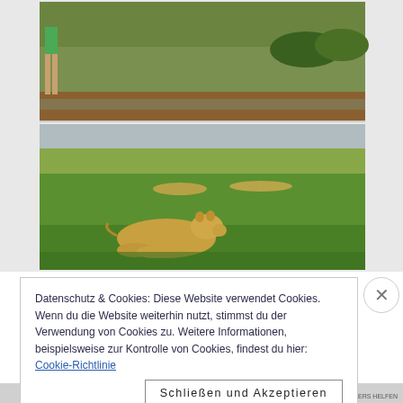[Figure (photo): Two stacked wildlife photos: top photo shows a person standing near a muddy riverbank with green vegetation; bottom photo shows lions resting on a green savanna plain, with one lioness in the foreground lying down and additional lions visible in the background distance.]
Datenschutz & Cookies: Diese Website verwendet Cookies. Wenn du die Website weiterhin nutzt, stimmst du der Verwendung von Cookies zu. Weitere Informationen, beispielsweise zur Kontrolle von Cookies, findest du hier: Cookie-Richtlinie
Schließen und Akzeptieren